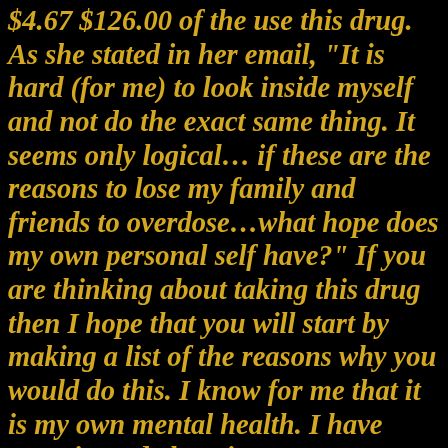$4.67 $126.00 of the use this drug. As she stated in her email, "It is hard (for me) to look inside myself and not do the exact same thing. It seems only logical… if these are the reasons to lose my family and friends to overdose…what hope does my own personal self have?" If you are thinking about taking this drug then I hope that you will start by making a list of the reasons why you would do this. I know for me that it is my own mental health. I have experienced chronic severe depression throughout my life, which has affected the way I lived my life. want to be the best person I can be. also want to be there for myself if